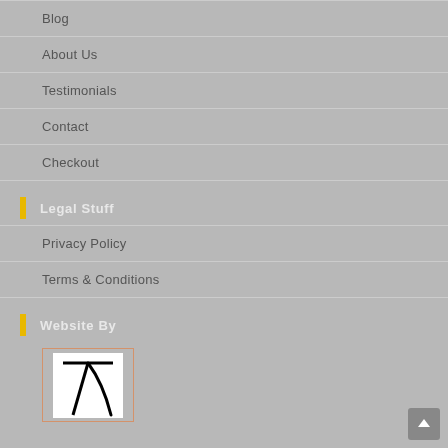Blog
About Us
Testimonials
Contact
Checkout
Legal Stuff
Privacy Policy
Terms & Conditions
Website By
[Figure (logo): Website logo with stylized T letter in black on white background with orange/salmon border]